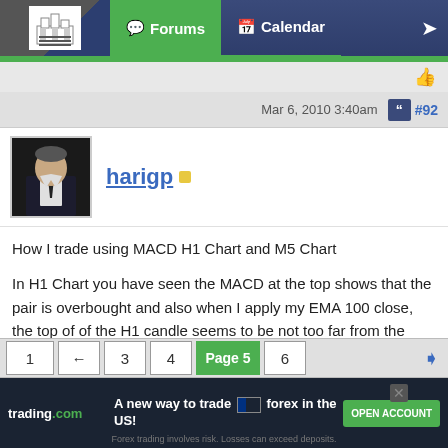Forums | Calendar
Mar 6, 2010 3:40am   #92
harigp
How I trade using MACD H1 Chart and M5 Chart

In H1 Chart you have seen the MACD at the top shows that the pair is overbought and also when I apply my EMA 100 close, the top of of the H1 candle seems to be not too far from the EMA 100( it is not extremely bullish market)

Questions:

1 So what should be my trading Plan

Your trading plan should be Monitor the M 5 chart and find the top of the MACD...
1  ←  3  4  Page 5  6
trading.com  A new way to trade forex in the US!  OPEN ACCOUNT  Forex trading involves risk. Losses can exceed deposits.